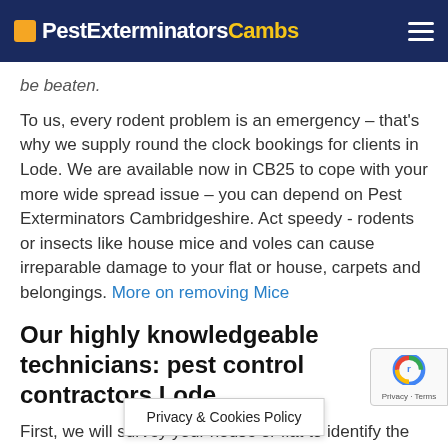PestExterminatorsCambs
be beaten.
To us, every rodent problem is an emergency – that's why we supply round the clock bookings for clients in Lode. We are available now in CB25 to cope with your more wide spread issue – you can depend on Pest Exterminators Cambridgeshire. Act speedy - rodents or insects like house mice and voles can cause irreparable damage to your flat or house, carpets and belongings. More on removing Mice
Our highly knowledgeable technicians: pest control contractors Lode
First, we will survey your house or flat to identify the infestation and its extent. Once identified, we will use eco friendly cage traps and poison for small problems to fo and house fumigation methods for extreme and more wide spread issues.
Privacy & Cookies Policy